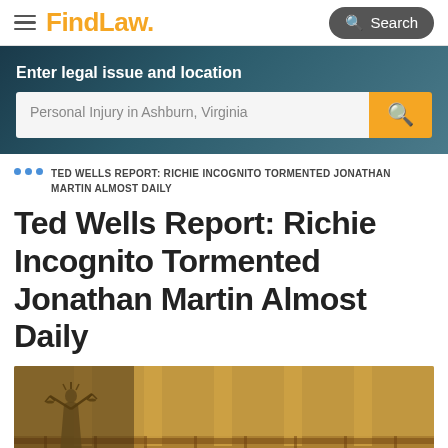FindLaw — Search
[Figure (screenshot): Hero search bar with label 'Enter legal issue and location' and placeholder text 'Personal Injury in Ashburn, Virginia' on a dark teal background]
TED WELLS REPORT: RICHIE INCOGNITO TORMENTED JONATHAN MARTIN ALMOST DAILY
Ted Wells Report: Richie Incognito Tormented Jonathan Martin Almost Daily
[Figure (photo): Courtroom photo showing the Lady Justice statue in the foreground with ornate wooden pews and columns in the background]